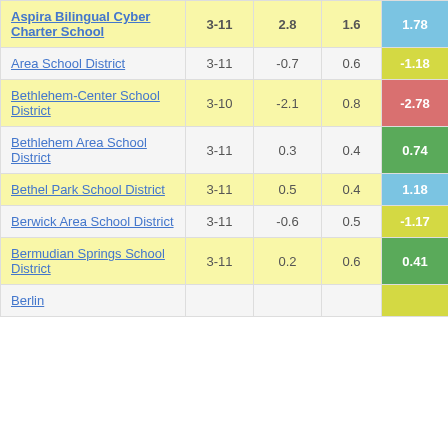| School/District | Grades | Col3 | Col4 | Score |
| --- | --- | --- | --- | --- |
| Aspira Bilingual Cyber Charter School | 3-11 | 2.8 | 1.6 | 1.78 |
| Area School District | 3-11 | -0.7 | 0.6 | -1.18 |
| Bethlehem-Center School District | 3-10 | -2.1 | 0.8 | -2.78 |
| Bethlehem Area School District | 3-11 | 0.3 | 0.4 | 0.74 |
| Bethel Park School District | 3-11 | 0.5 | 0.4 | 1.18 |
| Berwick Area School District | 3-11 | -0.6 | 0.5 | -1.17 |
| Bermudian Springs School District | 3-11 | 0.2 | 0.6 | 0.41 |
| Berlin |  |  |  |  |